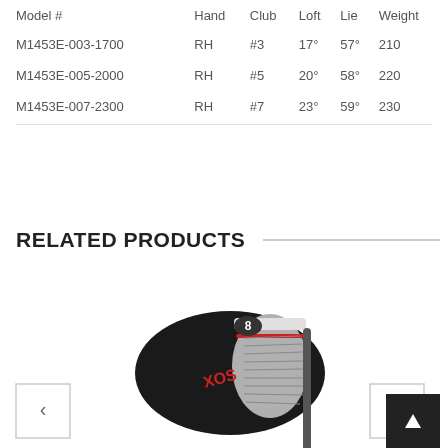| Model # | Hand | Club | Loft | Lie | Weight |
| --- | --- | --- | --- | --- | --- |
| M1453E-003-1700 | RH | #3 | 17° | 57° | 210 |
| M1453E-005-2000 | RH | #5 | 20° | 58° | 220 |
| M1453E-007-2300 | RH | #7 | 23° | 59° | 230 |
RELATED PRODUCTS
[Figure (photo): Golf club (iron/hybrid) shown face-on, black and chrome finish with red XOS branding, product carousel with left/right navigation arrows and scroll-up button]